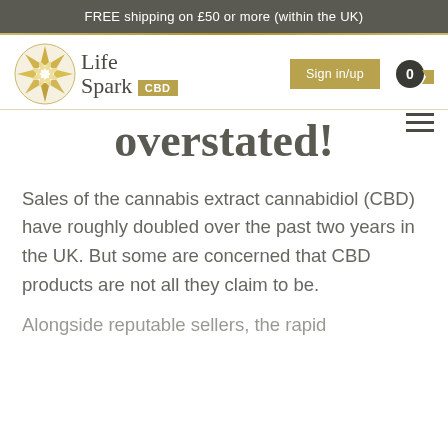FREE shipping on £50 or more (within the UK)
[Figure (logo): Life Spark CBD logo with geometric starburst icon in gold and white, text 'Life Spark' in dark serif and 'CBD' in gold badge]
overstated!
Sales of the cannabis extract cannabidiol (CBD) have roughly doubled over the past two years in the UK. But some are concerned that CBD products are not all they claim to be.
Alongside reputable sellers, the rapid